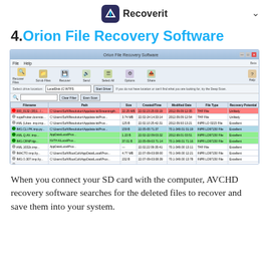Recoverit
4. Orion File Recovery Software
[Figure (screenshot): Screenshot of Orion File Recovery Software showing a file list with columns for Filename, Path, Size, Created/Time, Modified Date, File Type, and Recovery Potential. Multiple recovered files (AVCHD .mts files) are listed. Some rows are highlighted in green, red, or blue. A tooltip shows 'Recover File' option. Status bar at bottom shows '4693 deleted files found / 21 matches snapshot'.]
When you connect your SD card with the computer, AVCHD recovery software searches for the deleted files to recover and save them into your system.